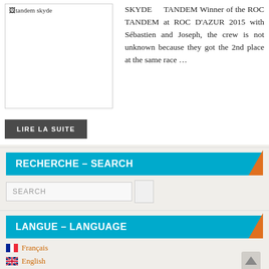[Figure (photo): Image placeholder showing broken image icon with alt text 'tandem skyde']
SKYDE TANDEM Winner of the ROC TANDEM at ROC D'AZUR 2015 with Sébastien and Joseph, the crew is not unknown because they got the 2nd place at the same race …
LIRE LA SUITE
RECHERCHE – SEARCH
SEARCH
LANGUE – LANGUAGE
🇫🇷 Français
🇬🇧 English